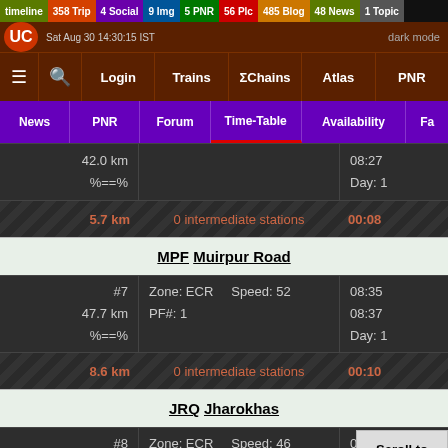timeline 358 Trip 4 Social 9 Img 5 PNR 56 Plc 485 Blog 48 News 1 Topic
Sat Aug 30 14:30:15 IST | dark mode
≡ 🔍 Login | Trains | ΣChains | Atlas | PNR
News | PNR | Forum | Time-Table | Availability | Fa...
| Distance | Info | Time |
| --- | --- | --- |
| 42.0 km
%==% |  | 08:27
Day: 1 |
| 5.7 km | 0 intermediate stations | 00:08 |
| MPF Muirpur Road |  |  |
| #7
47.7 km
%==% | Zone: ECR
PF#: 1
Speed: 52 | 08:35
08:37
Day: 1 |
| 8.6 km | 0 intermediate stations | 00:10 |
| JRQ Jharokhas |  |  |
| #8
56.3 km
%==% | Zone: ECR
PF#: 1
Speed: 46 | 08:47
08:...
D... |